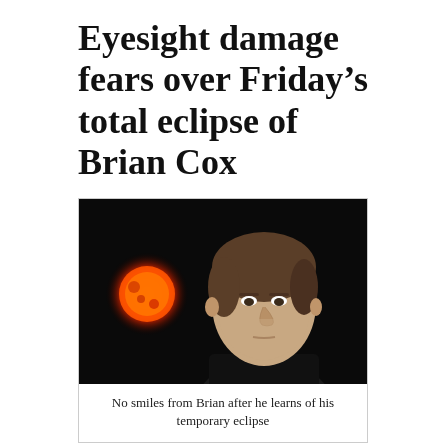Eyesight damage fears over Friday’s total eclipse of Brian Cox
[Figure (photo): A man (Brian Cox) with brown hair against a black background with an orange-red sun/star visible to the left side of the image]
No smiles from Brian after he learns of his temporary eclipse
Keen skywatchers and other lonely men have been warned not